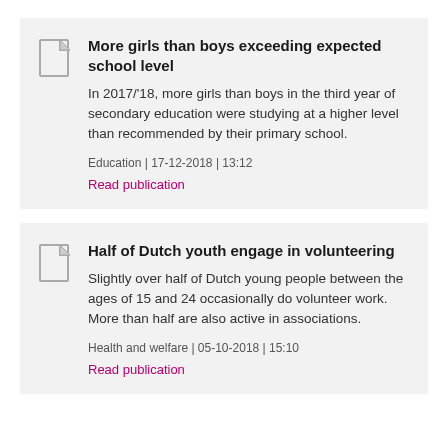More girls than boys exceeding expected school level
In 2017/'18, more girls than boys in the third year of secondary education were studying at a higher level than recommended by their primary school.
Education | 17-12-2018 | 13:12
Read publication
Half of Dutch youth engage in volunteering
Slightly over half of Dutch young people between the ages of 15 and 24 occasionally do volunteer work. More than half are also active in associations.
Health and welfare | 05-10-2018 | 15:10
Read publication